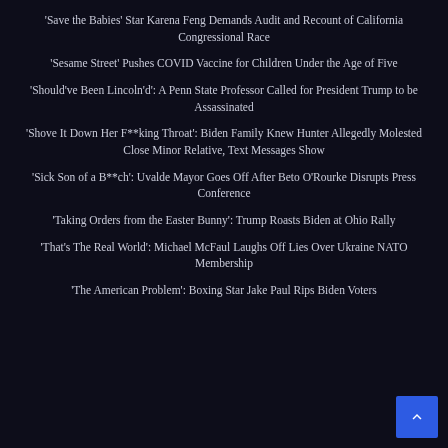'Save the Babies' Star Karena Feng Demands Audit and Recount of California Congressional Race
'Sesame Street' Pushes COVID Vaccine for Children Under the Age of Five
'Should've Been Lincoln'd': A Penn State Professor Called for President Trump to be Assassinated
'Shove It Down Her F**king Throat': Biden Family Knew Hunter Allegedly Molested Close Minor Relative, Text Messages Show
'Sick Son of a B**ch': Uvalde Mayor Goes Off After Beto O'Rourke Disrupts Press Conference
'Taking Orders from the Easter Bunny': Trump Roasts Biden at Ohio Rally
'That's The Real World': Michael McFaul Laughs Off Lies Over Ukraine NATO Membership
'The American Problem': Boxing Star Jake Paul Rips Biden Voters